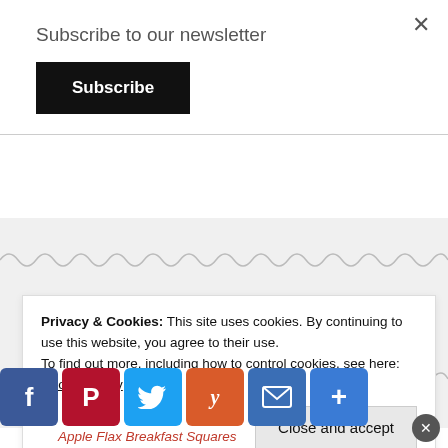Subscribe to our newsletter
Subscribe
Food Advertisements by
[Figure (logo): GourmetAds logo with fork icon]
TOP POSTS
Privacy & Cookies: This site uses cookies. By continuing to use this website, you agree to their use. To find out more, including how to control cookies, see here: Cookie Policy
Close and accept
[Figure (infographic): Social share buttons: Facebook, Pinterest, Twitter, Yummly, Email, Plus]
Apple Flax Breakfast Squares